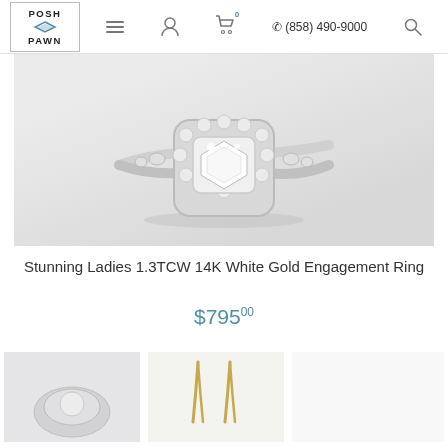POSH PAWN — (858) 490-9000
[Figure (photo): Diamond halo engagement ring with cushion-cut center stone in white gold, photographed on a light gray background]
Stunning Ladies 1.3TCW 14K White Gold Engagement Ring
$795.00
[Figure (photo): Bottom left product thumbnail — partial view of jewelry item]
[Figure (photo): Bottom center product thumbnail — gold earrings or similar jewelry]
[Figure (other): Chat widget with dark circular icon and blue square, bottom right corner]